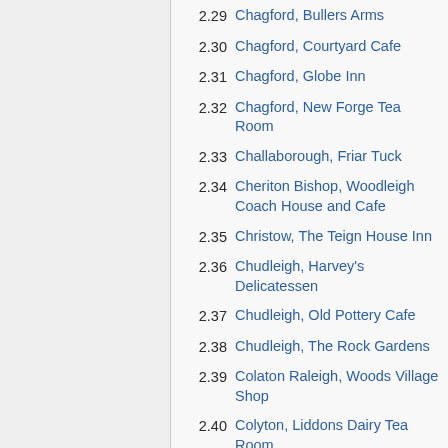2.29 Chagford, Bullers Arms
2.30 Chagford, Courtyard Cafe
2.31 Chagford, Globe Inn
2.32 Chagford, New Forge Tea Room
2.33 Challaborough, Friar Tuck
2.34 Cheriton Bishop, Woodleigh Coach House and Cafe
2.35 Christow, The Teign House Inn
2.36 Chudleigh, Harvey's Delicatessen
2.37 Chudleigh, Old Pottery Cafe
2.38 Chudleigh, The Rock Gardens
2.39 Colaton Raleigh, Woods Village Shop
2.40 Colyton, Liddons Dairy Tea Room
2.41 Colyton, Tramstop Restaurant, Colyton Station